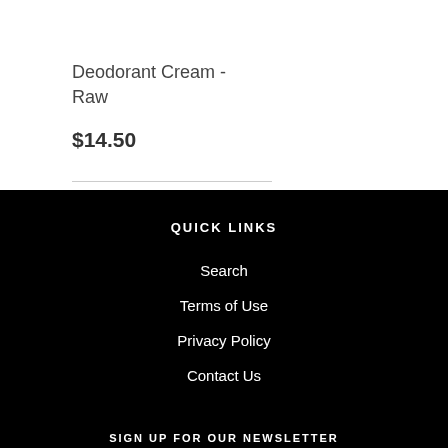Deodorant Cream - Raw
$14.50
QUICK LINKS
Search
Terms of Use
Privacy Policy
Contact Us
SIGN UP FOR OUR NEWSLETTER